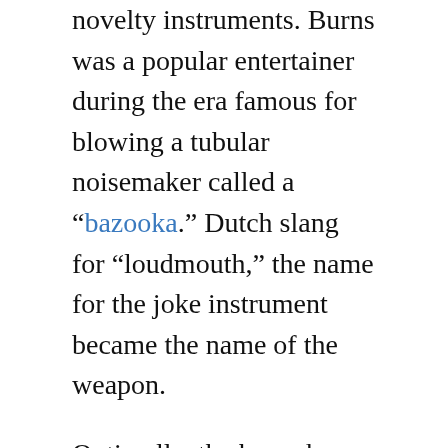novelty instruments. Burns was a popular entertainer during the era famous for blowing a tubular noisemaker called a “bazooka.” Dutch slang for “loudmouth,” the name for the joke instrument became the name of the weapon.
Optimally, the bazooka needed two people to fire it properly—a gunner who aimed and fired the rocket-propelled rounds, and a loader who carried the rounds in a cloth bandolier. The loader’s job was to load the launch tube from the back end, and toggle the safety switch.
An electric charge from a dry-cell battery ignited the powder charge in the rocket, the round streaked out of its tube—and flew on toward its